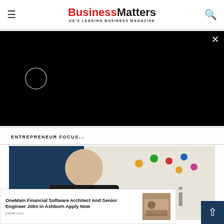Business Matters — UK'S LEADING BUSINESS MAGAZINE
[Figure (screenshot): Black video player overlay with loading spinner and close (×) button]
ENTREPRENEUR FOCUS...
[Figure (photo): Professional woman with blonde hair in dark blazer in front of UMI branded backdrop]
[Figure (screenshot): Advertisement: OneMain Financial Software Architect And Senior Engineer Jobs in Ashburn Apply Now — jobble.com, with office photo thumbnail]